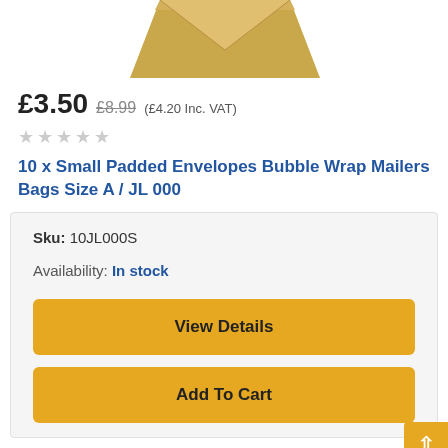[Figure (photo): Partial view of a kraft/gold padded bubble wrap envelope, cropped at the top]
£3.50 £8.99 (£4.20 Inc. VAT)
★★★★★ (empty stars rating)
10 x Small Padded Envelopes Bubble Wrap Mailers Bags Size A / JL 000
Sku: 10JL000S
Availability: In stock
View Details
Add To Cart
Add Wish List  Add Compare